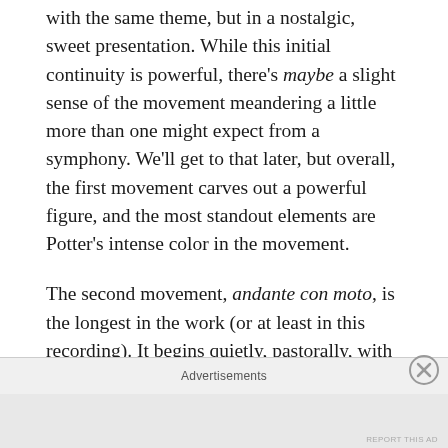with the same theme, but in a nostalgic, sweet presentation. While this initial continuity is powerful, there's maybe a slight sense of the movement meandering a little more than one might expect from a symphony. We'll get to that later, but overall, the first movement carves out a powerful figure, and the most standout elements are Potter's intense color in the movement.
The second movement, andante con moto, is the longest in the work (or at least in this recording). It begins quietly, pastorally, with woodwinds and horn, and echoes from strings, but the movement builds to some stronger heights before calming back down. Flutters and echoes and wisps from winds
Advertisements